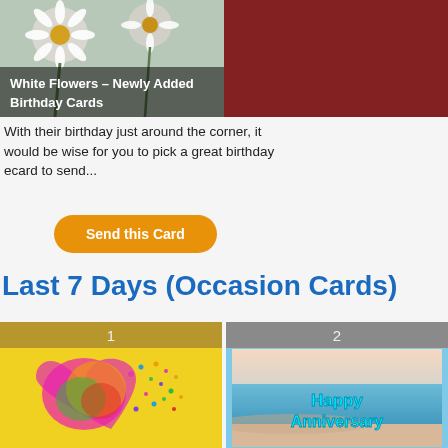[Figure (photo): White daisy flowers on gray-blue background with dark overlay text reading 'White Flowers – Newly Added Birthday Cards']
[Figure (photo): Solid dark red/maroon rectangle, partial view of a card]
With their birthday just around the corner, it would be wise for you to pick a great birthday ecard to send...
Send this Card
Last 7 Days (Occasion Cards)
[Figure (photo): Ranked #1 card: colorful heart made of butterflies on yellow background]
[Figure (photo): Ranked #2 card: beach ocean scene with text 'Happy Anniversary' in cyan]